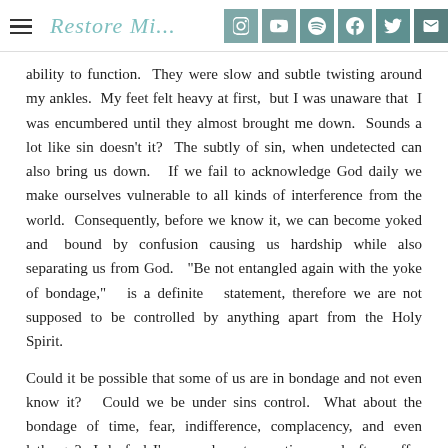Restore Mi...  [social icons: Instagram, YouTube, Spotify, Facebook, Twitter, Email]
ability to function.  They were slow and subtle twisting around my ankles.  My feet felt heavy at first,  but I was unaware that  I was encumbered until they almost brought me down.  Sounds a lot like sin doesn't it?  The subtly of sin, when undetected can also bring us down.   If we fail to acknowledge God daily we make ourselves vulnerable to all kinds of interference from the world.  Consequently, before we know it, we can become yoked and   bound  by  confusion  causing  us  hardship  while  also separating us from God.   "Be not entangled again with the yoke of bondage,"   is a definite   statement, therefore we are not supposed  to  be  controlled  by  anything  apart  from  the  Holy Spirit.
Could it be possible that some of us are in bondage and not even know it?   Could we be under sins control.  What about the bondage of time, fear, indifference, complacency, and even lethargy?  I do feel I'm complacent sometimes and often suffer from lethargy.  We must not let ourselves be held or controlled